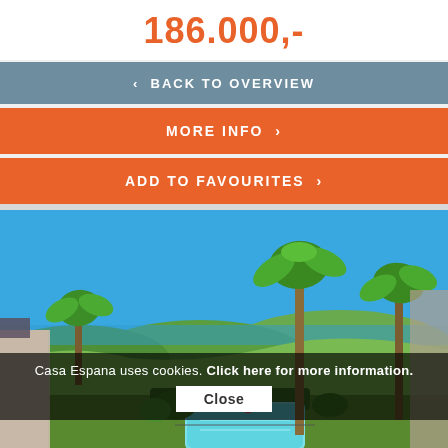186.000,-
‹  BACK TO OVERVIEW
MORE INFO  ›
ADD TO FAVOURITES  ›
[Figure (photo): Aerial view of a sunny Mediterranean property with a swimming pool surrounded by palm trees, lush green vegetation, and a sea view in the background under a clear blue sky.]
Casa Espana uses cookies. Click here for more information.
Close